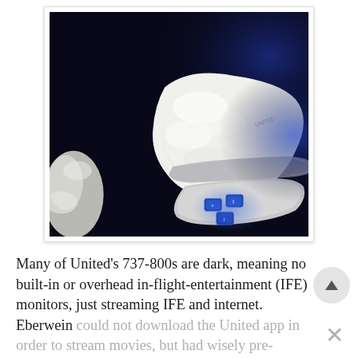[Figure (photo): A photo taken in a dark airplane cabin showing a white fluffy blanket or sock resting on top of illuminated blue seat controls/armrest panel buttons. The background is very dark (dark blue/black) consistent with night-time cabin lighting.]
Many of United's 737-800s are dark, meaning no built-in or overhead in-flight-entertainment (IFE) monitors, just streaming IFE and internet. Eberwein could not download the United app in order to stream movies, but had wisely pre-downloaded